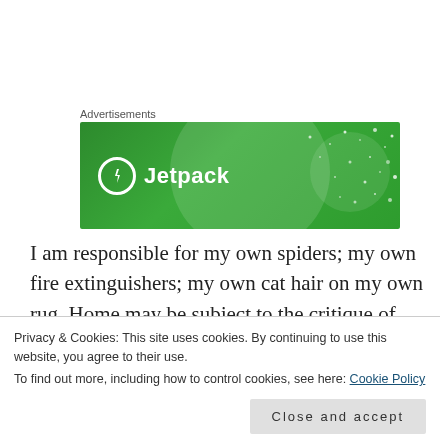Advertisements
[Figure (illustration): Jetpack advertisement banner — green background with circular design elements and white stars/dots pattern. Shows Jetpack logo: a circle with lightning bolt icon and the text 'Jetpack' in white.]
I am responsible for my own spiders; my own fire extinguishers; my own cat hair on my own rug. Home may be subject to the critique of others, but nobody's opinion matters except mine. Home may just be an elaborate
Privacy & Cookies: This site uses cookies. By continuing to use this website, you agree to their use.
To find out more, including how to control cookies, see here: Cookie Policy
Close and accept